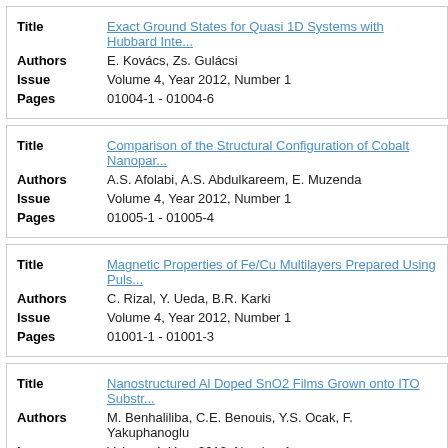| Field | Value |
| --- | --- |
| Title | Exact Ground States for Quasi 1D Systems with Hubbard Inte... |
| Authors | E. Kovács, Zs. Gulácsi |
| Issue | Volume 4, Year 2012, Number 1 |
| Pages | 01004-1 - 01004-6 |
| Field | Value |
| --- | --- |
| Title | Comparison of the Structural Configuration of Cobalt Nanopar... |
| Authors | A.S. Afolabi, A.S. Abdulkareem, E. Muzenda |
| Issue | Volume 4, Year 2012, Number 1 |
| Pages | 01005-1 - 01005-4 |
| Field | Value |
| --- | --- |
| Title | Magnetic Properties of Fe/Cu Multilayers Prepared Using Puls... |
| Authors | C. Rizal, Y. Ueda, B.R. Karki |
| Issue | Volume 4, Year 2012, Number 1 |
| Pages | 01001-1 - 01001-3 |
| Field | Value |
| --- | --- |
| Title | Nanostructured Al Doped SnO2 Films Grown onto ITO Substr... |
| Authors | M. Benhaliliba, C.E. Benouis, Y.S. Ocak, F. Yakuphanoglu |
| Issue | Volume 4, Year 2012, Number 1 |